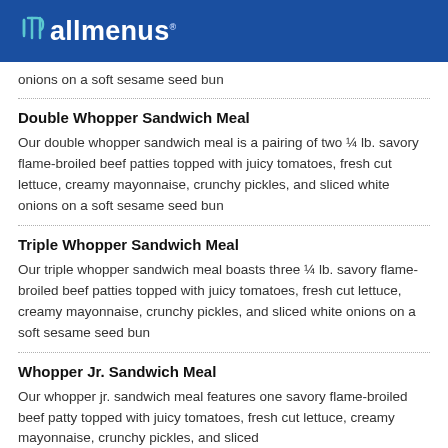allmenus
onions on a soft sesame seed bun
Double Whopper Sandwich Meal
Our double whopper sandwich meal is a pairing of two ¼ lb. savory flame-broiled beef patties topped with juicy tomatoes, fresh cut lettuce, creamy mayonnaise, crunchy pickles, and sliced white onions on a soft sesame seed bun
Triple Whopper Sandwich Meal
Our triple whopper sandwich meal boasts three ¼ lb. savory flame-broiled beef patties topped with juicy tomatoes, fresh cut lettuce, creamy mayonnaise, crunchy pickles, and sliced white onions on a soft sesame seed bun
Whopper Jr. Sandwich Meal
Our whopper jr. sandwich meal features one savory flame-broiled beef patty topped with juicy tomatoes, fresh cut lettuce, creamy mayonnaise, crunchy pickles, and sliced